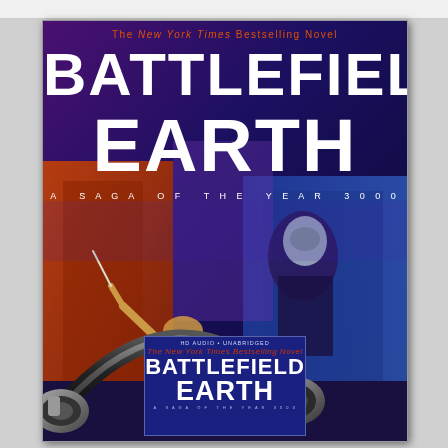[Figure (illustration): Book cover and audiobook product image for 'Battlefield Earth: A Saga of the Year 3000' by L. Ron Hubbard. The New York Times Bestselling Novel. Shows science fiction cover art with alien warrior figures, overlaid with a pair of headphones, and a smaller inset image of the audiobook CD case. Text on cover: 'The New York Times Bestselling Novel', 'BATTLEFIELD EARTH', 'A SAGA OF THE YEAR 3000'. Inner product label reads 'HD AUDIO • UNABRIDGED'.]